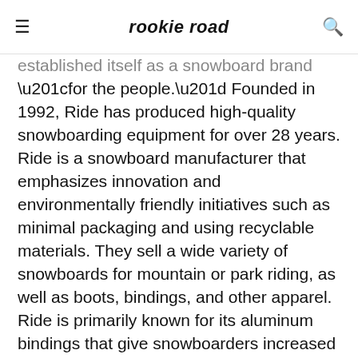rookie road
established itself as a snowboard brand “for the people.” Founded in 1992, Ride has produced high-quality snowboarding equipment for over 28 years. Ride is a snowboard manufacturer that emphasizes innovation and environmentally friendly initiatives such as minimal packaging and using recyclable materials. They sell a wide variety of snowboards for mountain or park riding, as well as boots, bindings, and other apparel. Ride is primarily known for its aluminum bindings that give snowboarders increased durability, mobility, and response when riding. Ride is a top brand for female